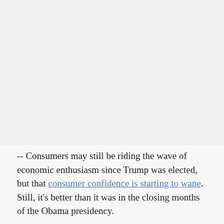[Figure (other): Placeholder image area at top of page, light gray background]
-- Consumers may still be riding the wave of economic enthusiasm since Trump was elected, but that consumer confidence is starting to wane. Still, it's better than it was in the closing months of the Obama presidency.